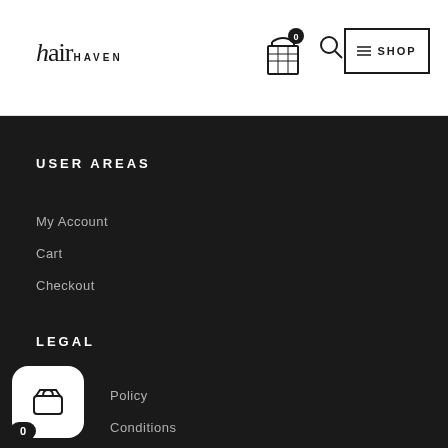[Figure (logo): hair haven brand logo in serif/sans combination]
[Figure (other): Shopping cart icon with badge showing 0, search icon, and SHOP button]
USER AREAS
My Account
Cart
Checkout
LEGAL
Policy
Conditions
Refund/Return Policy